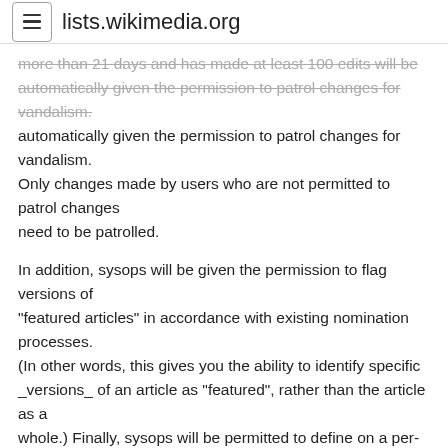lists.wikimedia.org
more than 21 days and has made at least 100 edits will be automatically given the permission to patrol changes for vandalism. Only changes made by users who are not permitted to patrol changes need to be patrolled.
In addition, sysops will be given the permission to flag versions of "featured articles" in accordance with existing nomination processes. (In other words, this gives you the ability to identify specific _versions_ of an article as "featured", rather than the article as a whole.) Finally, sysops will be permitted to define on a per-page basis that changes need to be patrolled before being visible to unregistered readers. This is an alternative to semi-protection; it